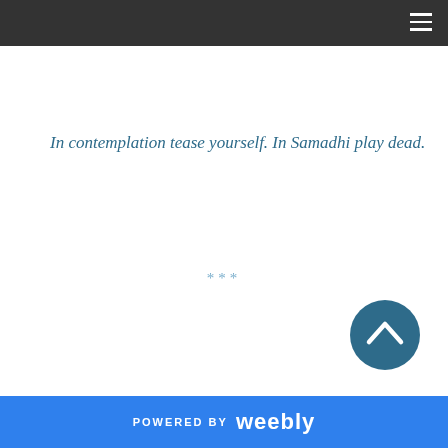In contemplation tease yourself. In Samadhi play dead.
***
[Figure (other): Circular scroll-to-top button with upward chevron arrow in teal/dark blue color]
POWERED BY weebly